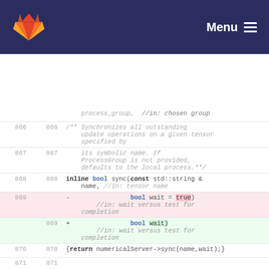GitLab — Menu
[Figure (screenshot): GitLab code diff view showing lines 866-872 of a C++ source file with a deleted line (869) showing 'bool wait = true)' and an added line (869) showing 'bool wait)']
evaluateSync(const ProcessGroup & process_group,  //in: chosen group
866  866  /** Synchronizes all outstanding update operations on a given tensor specified by
867  867       its symbolic name. If ProcessGroup is not provided, defaults to the local process.**/
868  868  inline bool sync(const std::string & name, //in: tensor name
869       -                bool wait = true)  //in: wait versus test for completion
869  +                bool wait)  //in: wait versus test for completion
870  870  {return numericalServer->sync(name,wait);}
871  871
872  872  inline bool sync(const ProcessGroup